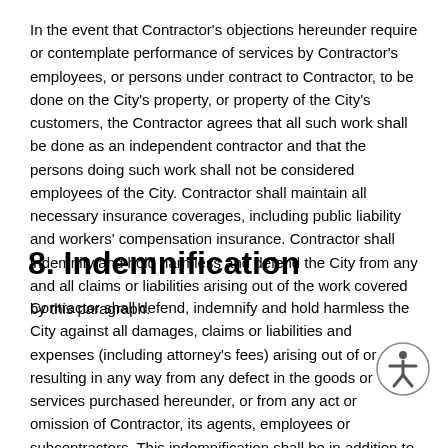In the event that Contractor's objections hereunder require or contemplate performance of services by Contractor's employees, or persons under contract to Contractor, to be done on the City's property, or property of the City's customers, the Contractor agrees that all such work shall be done as an independent contractor and that the persons doing such work shall not be considered employees of the City. Contractor shall maintain all necessary insurance coverages, including public liability and workers' compensation insurance. Contractor shall indemnify and hold harmless and defend the City from any and all claims or liabilities arising out of the work covered by this paragraph.
8. Indemnification
Contractor shall defend, indemnify and hold harmless the City against all damages, claims or liabilities and expenses (including attorney's fees) arising out of or resulting in any way from any defect in the goods or services purchased hereunder, or from any act or omission of Contractor, its agents, employees or subcontractors. This indemnification shall be in addition to the warranty obligations of Contractor.